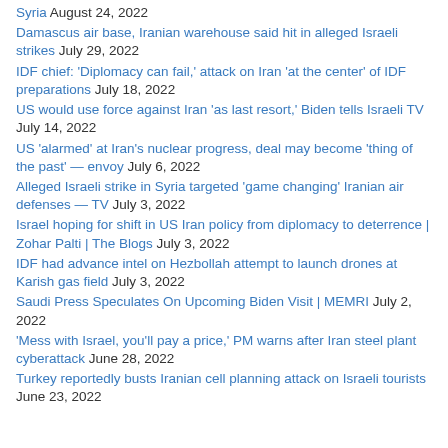Syria August 24, 2022
Damascus air base, Iranian warehouse said hit in alleged Israeli strikes July 29, 2022
IDF chief: 'Diplomacy can fail,' attack on Iran 'at the center' of IDF preparations July 18, 2022
US would use force against Iran 'as last resort,' Biden tells Israeli TV July 14, 2022
US 'alarmed' at Iran's nuclear progress, deal may become 'thing of the past' — envoy July 6, 2022
Alleged Israeli strike in Syria targeted 'game changing' Iranian air defenses — TV July 3, 2022
Israel hoping for shift in US Iran policy from diplomacy to deterrence | Zohar Palti | The Blogs July 3, 2022
IDF had advance intel on Hezbollah attempt to launch drones at Karish gas field July 3, 2022
Saudi Press Speculates On Upcoming Biden Visit | MEMRI July 2, 2022
'Mess with Israel, you'll pay a price,' PM warns after Iran steel plant cyberattack June 28, 2022
Turkey reportedly busts Iranian cell planning attack on Israeli tourists June 23, 2022